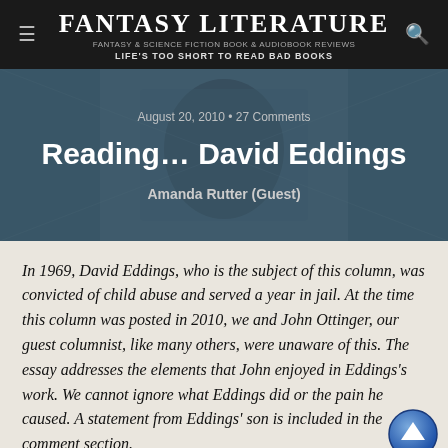Fantasy Literature — Fantasy & Science Fiction Book & Audiobook Reviews — Life's too short to Read Bad Books
[Figure (screenshot): Hero banner with dark teal/blue background showing a figure, with post metadata overlaid]
Reading… David Eddings
August 20, 2010 • 27 Comments
Amanda Rutter (Guest)
In 1969, David Eddings, who is the subject of this column, was convicted of child abuse and served a year in jail. At the time this column was posted in 2010, we and John Ottinger, our guest columnist, like many others, were unaware of this. The essay addresses the elements that John enjoyed in Eddings's work. We cannot ignore what Eddings did or the pain he caused. A statement from Eddings' son is included in the comment section.